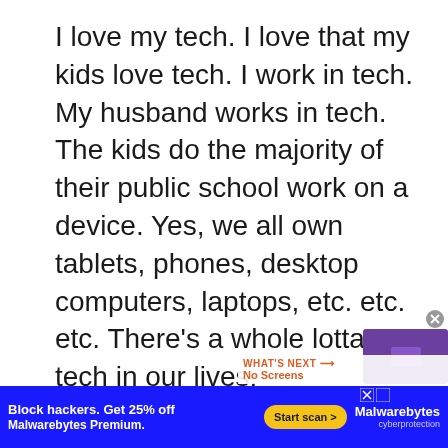I love my tech. I love that my kids love tech. I work in tech. My husband works in tech. The kids do the majority of their public school work on a device. Yes, we all own tablets, phones, desktop computers, laptops, etc. etc. etc. There's a whole lotta tech in our lives.
Sometime last year, we kind of had this nudge that maybe
[Figure (screenshot): Red heart like button with count 1, and a share button below it, floating on right side of page]
[Figure (infographic): What's Next bar showing 'No Screens' with thumbnail image]
[Figure (screenshot): Advertisement banner: Block hackers. Get 25% off Malwarebytes Premium. Start scan button. Malwarebytes cyberprotection logo.]